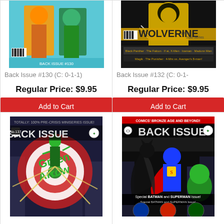[Figure (illustration): Back Issue #130 comic book cover featuring superheroes in green costumes]
Back Issue #130 (C: 0-1-1)
Regular Price: $9.95
Add to Cart
[Figure (illustration): Back Issue #132 comic book cover featuring Wolverine, First Solo Series]
Back Issue #132 (C: 0-1-
Regular Price: $9.95
Add to Cart
[Figure (illustration): Back Issue #137 comic book cover featuring Green Arrow]
[Figure (illustration): Back Issue comic book cover featuring Batman and Superman, Special Batman and Superman Issue]